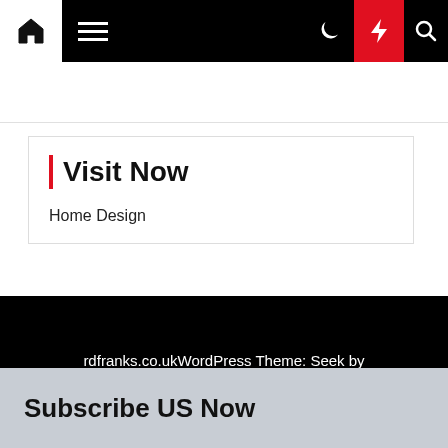Navigation bar with home icon, hamburger menu, moon icon, bolt/lightning icon, search icon
Visit Now
Home Design
rdfranks.co.ukWordPress Theme: Seek by ThemeInWP
Subscribe US Now